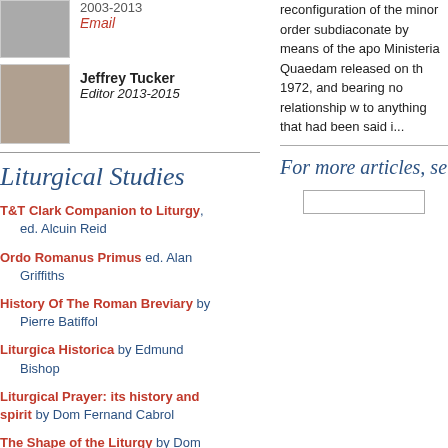2003-2013
Email
Jeffrey Tucker
Editor 2013-2015
reconfiguration of the minor order subdiaconate by means of the apostolic Ministeria Quaedam released on the 1972, and bearing no relationship w to anything that had been said i...
For more articles, se
Liturgical Studies
T&T Clark Companion to Liturgy, ed. Alcuin Reid
Ordo Romanus Primus ed. Alan Griffiths
History Of The Roman Breviary by Pierre Batiffol
Liturgica Historica by Edmund Bishop
Liturgical Prayer: its history and spirit by Dom Fernand Cabrol
The Shape of the Liturgy by Dom Gregory Dix